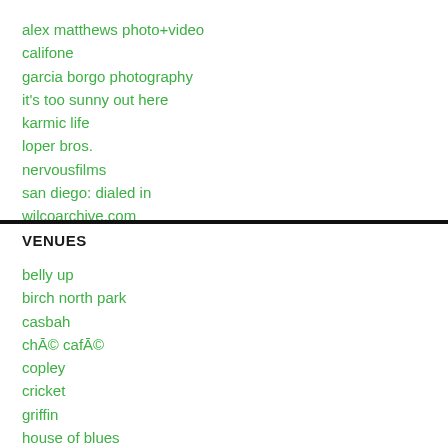alex matthews photo+video
califone
garcia borgo photography
it's too sunny out here
karmic life
loper bros.
nervousfilms
san diego: dialed in
wilcoarchive.com
VENUES
belly up
birch north park
casbah
ché café
copley
cricket
griffin
house of blues
humphrey's